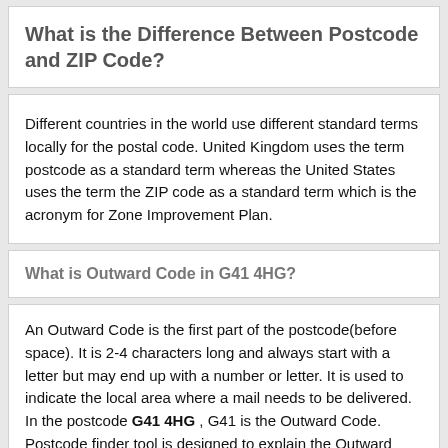What is the Difference Between Postcode and ZIP Code?
Different countries in the world use different standard terms locally for the postal code. United Kingdom uses the term postcode as a standard term whereas the United States uses the term the ZIP code as a standard term which is the acronym for Zone Improvement Plan.
What is Outward Code in G41 4HG?
An Outward Code is the first part of the postcode(before space). It is 2-4 characters long and always start with a letter but may end up with a number or letter. It is used to indicate the local area where a mail needs to be delivered. In the postcode G41 4HG , G41 is the Outward Code. Postcode finder tool is designed to explain the Outward Code of the address you are searching. An Outward Code is further